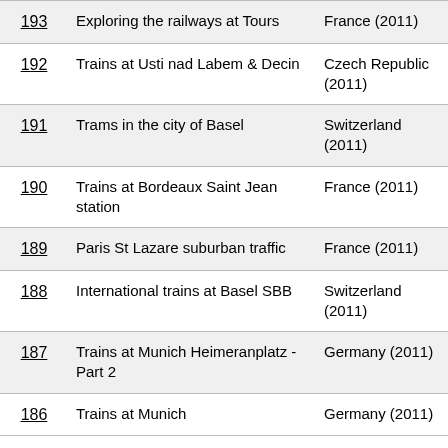| # | Title | Location |
| --- | --- | --- |
| 193 | Exploring the railways at Tours | France (2011) |
| 192 | Trains at Usti nad Labem & Decin | Czech Republic (2011) |
| 191 | Trams in the city of Basel | Switzerland (2011) |
| 190 | Trains at Bordeaux Saint Jean station | France (2011) |
| 189 | Paris St Lazare suburban traffic | France (2011) |
| 188 | International trains at Basel SBB | Switzerland (2011) |
| 187 | Trains at Munich Heimeranplatz - Part 2 | Germany (2011) |
| 186 | Trains at Munich | Germany (2011) |